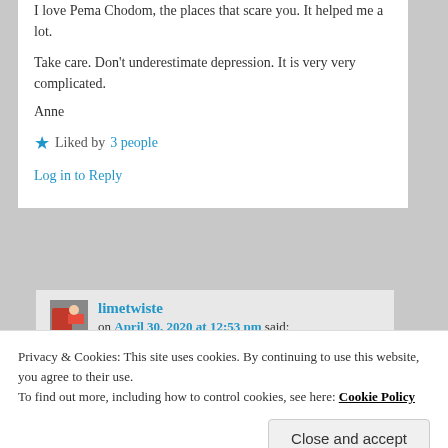I love Pema Chodom, the places that scare you. It helped me a lot.
Take care. Don't underestimate depression. It is very very complicated.
Anne
★ Liked by 3 people
Log in to Reply
limetwiste on April 30, 2020 at 12:53 pm said:
Privacy & Cookies: This site uses cookies. By continuing to use this website, you agree to their use. To find out more, including how to control cookies, see here: Cookie Policy
Close and accept